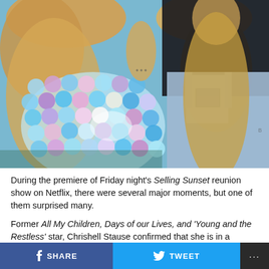[Figure (photo): Two women posing together. Left person wears an iridescent/holographic sequin outfit with large colorful disc sequins in blue, purple, pink tones. Right person wears a black t-shirt and light blue denim overalls, with long blonde hair. Both have long blonde hair.]
During the premiere of Friday night's Selling Sunset reunion show on Netflix, there were several major moments, but one of them surprised many.
Former All My Children, Days of our Lives, and 'Young and the Restless' star, Chrishell Stause confirmed that she is in a relationship with Australian singer, G Flip
SHARE  TWEET  ...